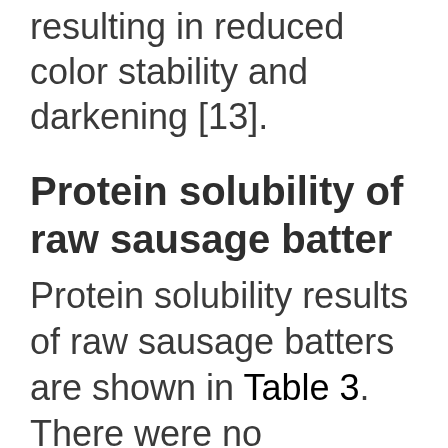resulting in reduced color stability and darkening [13].
Protein solubility of raw sausage batter
Protein solubility results of raw sausage batters are shown in Table 3. There were no differences in protein solubility among all treatments (p>0.05). In